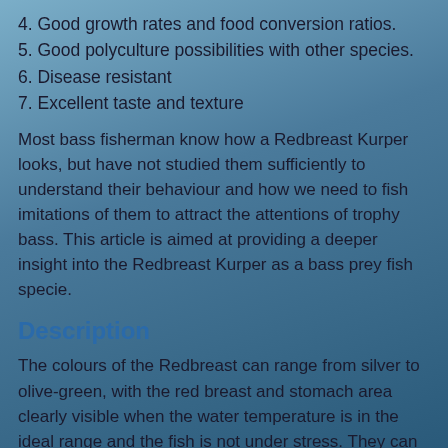4. Good growth rates and food conversion ratios.
5. Good polyculture possibilities with other species.
6. Disease resistant
7. Excellent taste and texture
Most bass fisherman know how a Redbreast Kurper looks, but have not studied them sufficiently to understand their behaviour and how we need to fish imitations of them to attract the attentions of trophy bass. This article is aimed at providing a deeper insight into the Redbreast Kurper as a bass prey fish specie.
Description
The colours of the Redbreast can range from silver to olive-green, with the red breast and stomach area clearly visible when the water temperature is in the ideal range and the fish is not under stress. They can have up to nine vertical stripes of a darker green or black. These stripes becomes less distinguished as the fish get bigger, but are clearly visible in smaller individuals (the size that bass eat) and together with the red colour of the breast area act as a trigger point for bass. The fins